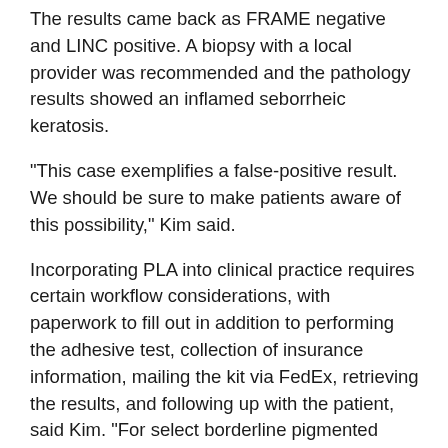The results came back as FRAME negative and LINC positive. A biopsy with a local provider was recommended and the pathology results showed an inflamed seborrheic keratosis.
"This case exemplifies a false-positive result. We should be sure to make patients aware of this possibility," Kim said.
Incorporating PLA into clinical practice requires certain workflow considerations, with paperwork to fill out in addition to performing the adhesive test, collection of insurance information, mailing the kit via FedEx, retrieving the results, and following up with the patient, said Kim. "For select borderline pigmented lesions, I discuss the rationale of the test with patients, the possibility of false-positive and false-negative results and the need to return for a biopsy when there is positive result. Clinical follow-up is recommended for negative results. There is also the possibility of charge to the patient if the test is not covered by their insurance."